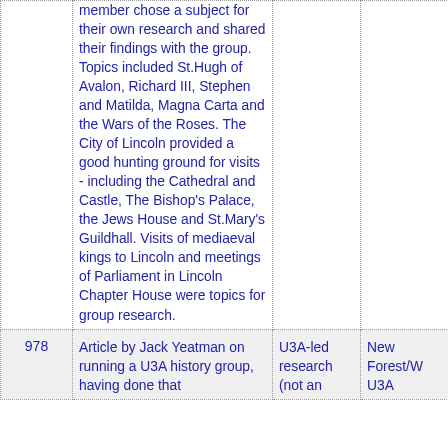|  |  |  |  |
| --- | --- | --- | --- |
|  | member chose a subject for their own research and shared their findings with the group. Topics included St.Hugh of Avalon, Richard III, Stephen and Matilda, Magna Carta and the Wars of the Roses. The City of Lincoln provided a good hunting ground for visits - including the Cathedral and Castle, The Bishop's Palace, the Jews House and St.Mary's Guildhall. Visits of mediaeval kings to Lincoln and meetings of Parliament in Lincoln Chapter House were topics for group research. |  |  |
| 978 | Article by Jack Yeatman on running a U3A history group, having done that | U3A-led research (not an | New Forest/W U3A |